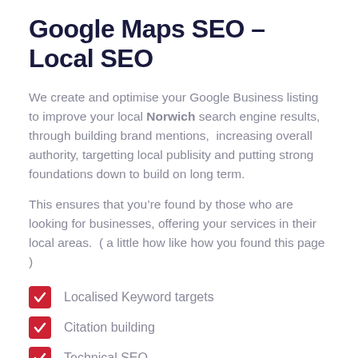Google Maps SEO – Local SEO
We create and optimise your Google Business listing to improve your local Norwich search engine results, through building brand mentions,  increasing overall authority, targetting local publisity and putting strong foundations down to build on long term.
This ensures that you're found by those who are looking for businesses, offering your services in their local areas.  ( a little how like how you found this page )
Localised Keyword targets
Citation building
Technical SEO
On-site SEO